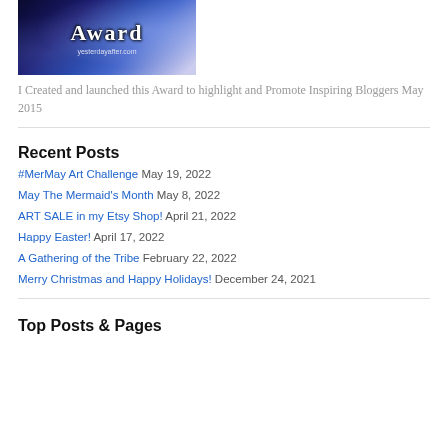[Figure (illustration): Banner image with dark blue abstract background showing 'Award' text and 'yesterdayafter.com' URL]
I Created and launched this Award to highlight and Promote Inspiring Bloggers May 2015
Recent Posts
#MerMay Art Challenge May 19, 2022
May The Mermaid's Month May 8, 2022
ART SALE in my Etsy Shop! April 21, 2022
Happy Easter! April 17, 2022
A Gathering of the Tribe February 22, 2022
Merry Christmas and Happy Holidays! December 24, 2021
Top Posts & Pages